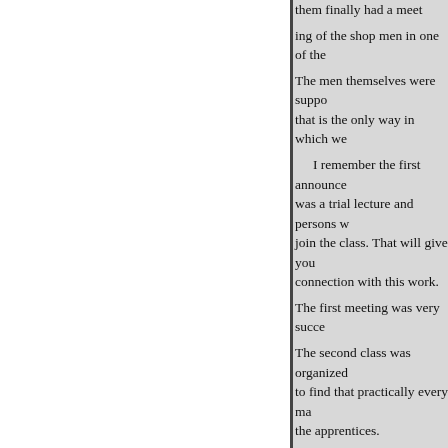them finally had a meet
ing of the shop men in one of the
The men themselves were suppo
that is the only way in which we
    I remember the first announce
was a trial lecture and persons w
join the class. That will give you
connection with this work.
The first meeting was very succe
The second class was organized
to find that practically every ma
the apprentices.
    At Livingston we had an expe
obtain a hearing from the men. A
after closing hours, and there aga
    I do not believe it would have
correspondence work as such. W
to the present time, they were in
    I think Dean Ferris, speaking
could do nothing more than to se
struggle to secure funds with